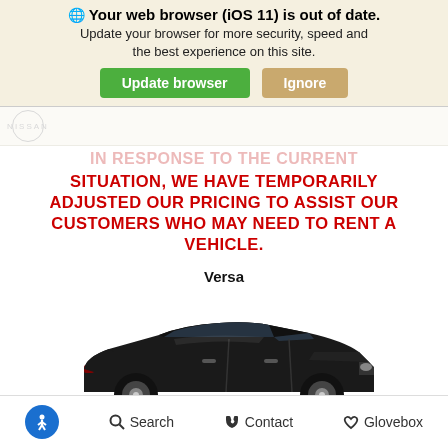Your web browser (iOS 11) is out of date. Update your browser for more security, speed and the best experience on this site.
Update browser | Ignore
IN RESPONSE TO THE CURRENT SITUATION, WE HAVE TEMPORARILY ADJUSTED OUR PRICING TO ASSIST OUR CUSTOMERS WHO MAY NEED TO RENT A VEHICLE.
Versa
[Figure (photo): Black Nissan Versa sedan shown from the side on a white background]
Search | Contact | Glovebox